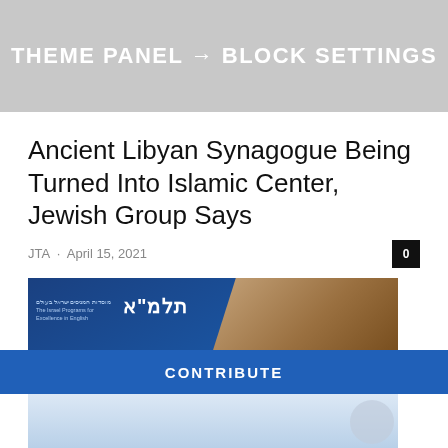THEME PANEL → BLOCK SETTINGS
Ancient Libyan Synagogue Being Turned Into Islamic Center, Jewish Group Says
JTA · April 15, 2021
[Figure (photo): Advertisement banner for Talmud educational program (TEACH) with Hebrew text and photo of student studying]
PHILADELPHIA JEWISH EXPONENT IS HERE FOR YOU
Your voluntary contribution supports our efforts to deliver content that engages and helps strengthen the Jewish community in the Philadelphia area.
CONTRIBUTE